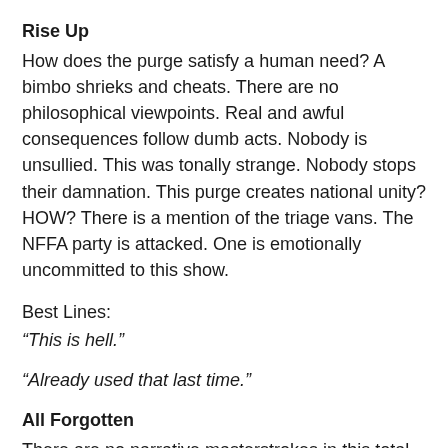Rise Up
How does the purge satisfy a human need? A bimbo shrieks and cheats. There are no philosophical viewpoints. Real and awful consequences follow dumb acts. Nobody is unsullied. This was tonally strange. Nobody stops their damnation. This purge creates national unity? HOW? There is a mention of the triage vans. The NFFA party is attacked. One is emotionally uncommitted to this show.
Best Lines:
“This is hell.”
“Already used that last time.”
All Forgotten
There are no narrative masterstrokes in this total failure of an ep. The cheating slut wife justifies leaving her husband to die to save the crazy ho. She doesn’t seem bothered by the fact that she’d let the fact that she’d have to do...